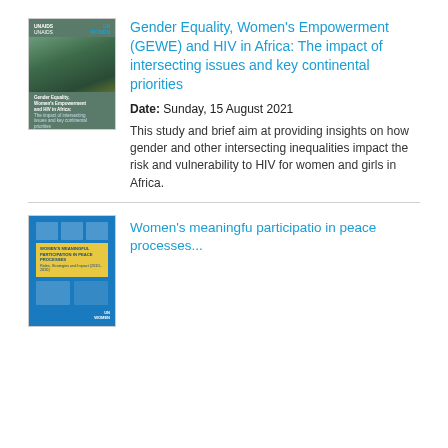[Figure (photo): Thumbnail cover image of a report showing a woman carrying a child on her back outdoors, with logos at the top and report title text overlay]
Gender Equality, Women's Empowerment (GEWE) and HIV in Africa: The impact of intersecting issues and key continental priorities
Date: Sunday, 15 August 2021
This study and brief aim at providing insights on how gender and other intersecting inequalities impact the risk and vulnerability to HIV for women and girls in Africa.
[Figure (photo): Thumbnail cover image of a report with blue background, decorative squares, a yellow band with report title text about women's participation in peace processes, and UN Women logo]